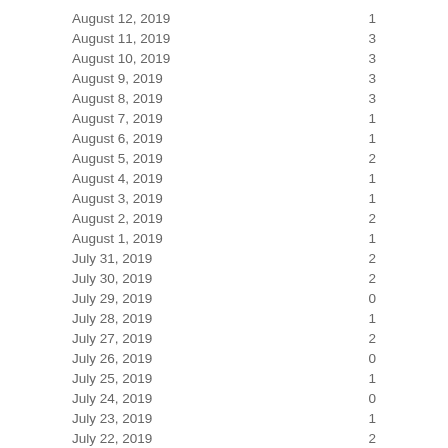| Date | Count |
| --- | --- |
| August 12, 2019 | 1 |
| August 11, 2019 | 3 |
| August 10, 2019 | 3 |
| August 9, 2019 | 3 |
| August 8, 2019 | 3 |
| August 7, 2019 | 1 |
| August 6, 2019 | 1 |
| August 5, 2019 | 2 |
| August 4, 2019 | 1 |
| August 3, 2019 | 1 |
| August 2, 2019 | 2 |
| August 1, 2019 | 1 |
| July 31, 2019 | 2 |
| July 30, 2019 | 2 |
| July 29, 2019 | 0 |
| July 28, 2019 | 1 |
| July 27, 2019 | 2 |
| July 26, 2019 | 0 |
| July 25, 2019 | 1 |
| July 24, 2019 | 0 |
| July 23, 2019 | 1 |
| July 22, 2019 | 2 |
| July 21, 2019 | 4 |